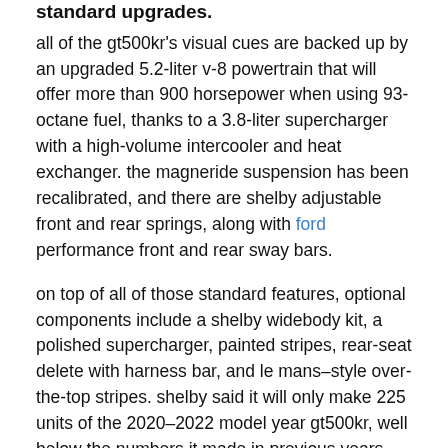standard upgrades.
all of the gt500kr's visual cues are backed up by an upgraded 5.2-liter v-8 powertrain that will offer more than 900 horsepower when using 93-octane fuel, thanks to a 3.8-liter supercharger with a high-volume intercooler and heat exchanger. the magneride suspension has been recalibrated, and there are shelby adjustable front and rear springs, along with ford performance front and rear sway bars.
on top of all of those standard features, optional components include a shelby widebody kit, a polished supercharger, painted stripes, rear-seat delete with harness bar, and le mans–style over-the-top stripes. shelby said it will only make 225 units of the 2020–2022 model year gt500kr, well below the numbers it made in previous years. shelby said that 1570 units of the first gt500kr models were sold in 1968: 1053 fastbacks and 517 convertibles. those models used a 428 cobra jet v-8